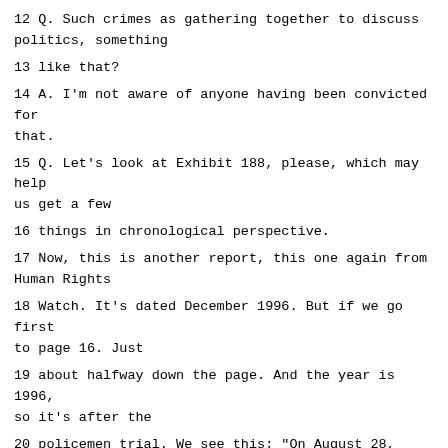12 Q. Such crimes as gathering together to discuss politics, something
13 like that?
14 A. I'm not aware of anyone having been convicted for that.
15 Q. Let's look at Exhibit 188, please, which may help us get a few
16 things in chronological perspective.
17 Now, this is another report, this one again from Human Rights
18 Watch. It's dated December 1996. But if we go first to page 16. Just
19 about halfway down the page. And the year is 1996, so it's after the
20 policemen trial. We see this: "On August 28, three grenades were thrown
21 at the police station in Lolopak near Pec, causing no casualties but
22 substantial material damage. That same day, an inspector with the Serbian